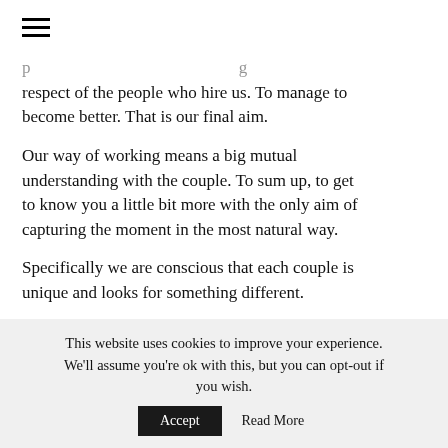[Figure (other): Hamburger menu icon (three horizontal lines)]
respect of the people who hire us. To manage to become better. That is our final aim.
Our way of working means a big mutual understanding with the couple. To sum up, to get to know you a little bit more with the only aim of capturing the moment in the most natural way.
Specifically we are conscious that each couple is unique and looks for something different.
[partial text fading out at bottom]
This website uses cookies to improve your experience. We'll assume you're ok with this, but you can opt-out if you wish.  Accept  Read More